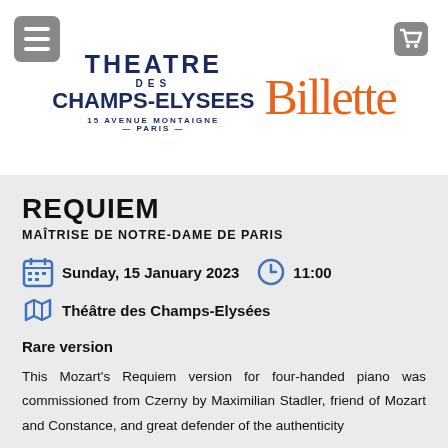[Figure (logo): Théâtre des Champs-Élysées logo with text: THEATRE DES CHAMPS-ELYSEES 15 AVENUE MONTAIGNE - PARIS - alongside orange Billetterie text]
REQUIEM
MAÎTRISE DE NOTRE-DAME DE PARIS
Sunday, 15 January 2023   11:00
Théâtre des Champs-Elysées
Rare version
This Mozart's Requiem version for four-handed piano was commissioned from Czerny by Maximilian Stadler, friend of Mozart and Constance, and great defender of the authenticity